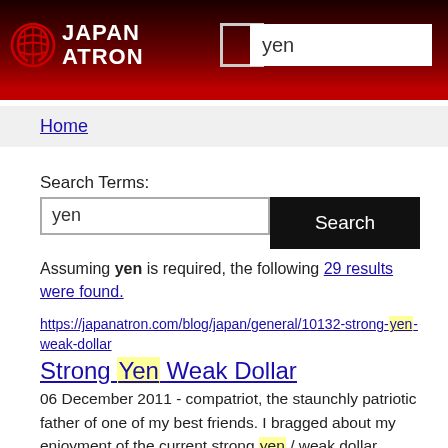JAPAN ATRON — search: yen
Home
Search Terms:
yen [Search button]
Assuming yen is required, the following 29 results were found.
https://japanatron.com/blog/japan/general/10132-strong-yen-weak-dollar
Strong Yen Weak Dollar
06 December 2011 - compatriot, the staunchly patriotic father of one of my best friends. I bragged about my enjoyment of the current strong yen / weak dollar